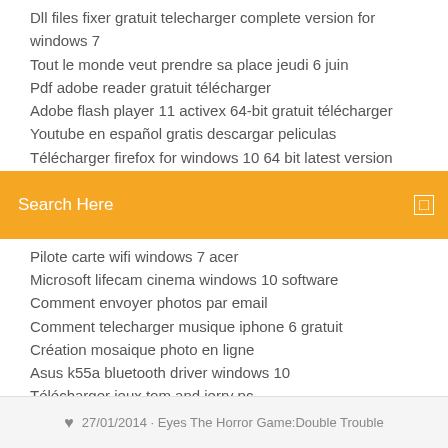Dll files fixer gratuit telecharger complete version for windows 7
Tout le monde veut prendre sa place jeudi 6 juin
Pdf adobe reader gratuit télécharger
Adobe flash player 11 activex 64-bit gratuit télécharger
Youtube en español gratis descargar peliculas
Télécharger firefox for windows 10 64 bit latest version
[Figure (screenshot): Orange search bar with text 'Search Here' and a small icon on the right]
Pilote carte wifi windows 7 acer
Microsoft lifecam cinema windows 10 software
Comment envoyer photos par email
Comment telecharger musique iphone 6 gratuit
Création mosaique photo en ligne
Asus k55a bluetooth driver windows 10
Télécharger jeux tom and jerry pc
27/01/2014 · Eyes The Horror Game:Double Trouble